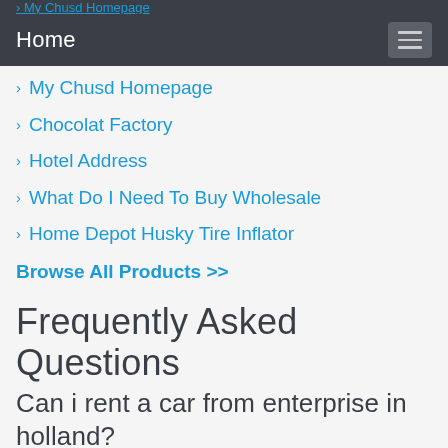Home
My Chusd Homepage
Chocolat Factory
Hotel Address
What Do I Need To Buy Wholesale
Home Depot Husky Tire Inflator
Browse All Products >>
Frequently Asked Questions
Can i rent a car from enterprise in holland?
Check rates and reserve your next car rental from Enterprise Rent-A-Car in Holland. Rental car classes include economy, fullsize, minivans, SUVs, pickup trucks, cargo vans and more. Holland, Zeeland, Hamilton